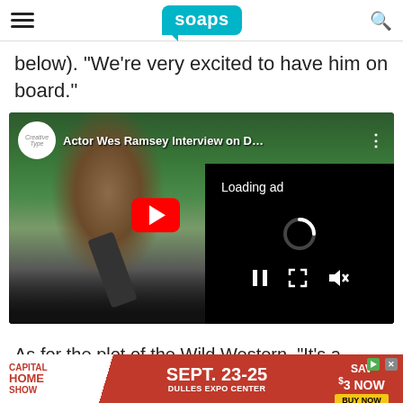soaps
below). “We’re very excited to have him on board.”
[Figure (screenshot): YouTube video embed showing Actor Wes Ramsey Interview on D... with a loading ad overlay and video playback controls. The video shows a man with sunglasses being interviewed outdoors with trees and hills in the background. A red YouTube play button is visible. An ad loading overlay shows 'Loading ad' text with a spinner and pause/fullscreen/mute controls.]
As for the plot of the Wild Western, “It’s a
[Figure (infographic): Capital Home Show advertisement banner. Red background with white text area on left reading CAPITAL HOME SHOW, center shows SEPT. 23-25 DULLES EXPO CENTER, right shows SAV $3 NOW with BUY NOW button in yellow.]